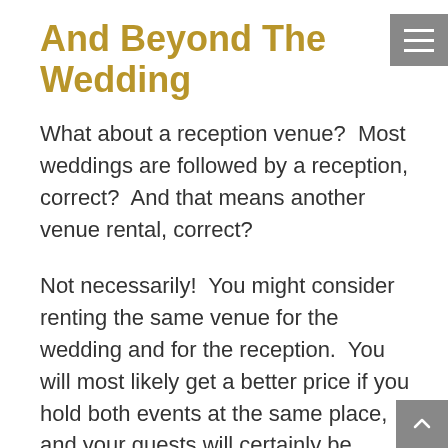And Beyond The Wedding
What about a reception venue?  Most weddings are followed by a reception, correct?  And that means another venue rental, correct?
Not necessarily!  You might consider renting the same venue for the wedding and for the reception.  You will most likely get a better price if you hold both events at the same place, and your guests will certainly be grateful for that gesture. Tarrant Events Center makes that possibility a reality. Our venue is flexible and is quite